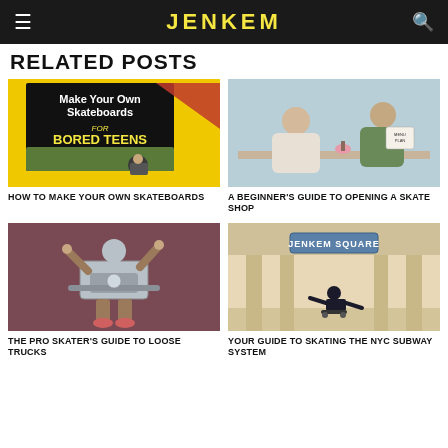JENKEM
RELATED POSTS
[Figure (illustration): Book cover parody: 'Make Your Own Skateboards FOR BORED TEENS' on a black background with yellow text and an illustrated skater]
HOW TO MAKE YOUR OWN SKATEBOARDS
[Figure (illustration): Illustrated scene of two people sitting at a table with a business plan, referencing opening a skate shop]
A BEGINNER'S GUIDE TO OPENING A SKATE SHOP
[Figure (illustration): Cartoon illustration of an anthropomorphized skateboard truck character running]
THE PRO SKATER'S GUIDE TO LOOSE TRUCKS
[Figure (illustration): Illustration of a skateboarder doing a trick inside a subway station labeled 'JENKEM SQUARE']
YOUR GUIDE TO SKATING THE NYC SUBWAY SYSTEM